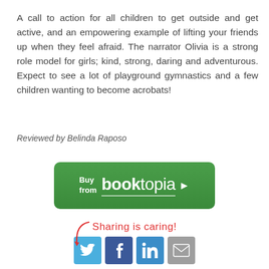A call to action for all children to get outside and get active, and an empowering example of lifting your friends up when they feel afraid. The narrator Olivia is a strong role model for girls; kind, strong, daring and adventurous. Expect to see a lot of playground gymnastics and a few children wanting to become acrobats!
Reviewed by Belinda Raposo
[Figure (other): Green rounded rectangle button with 'Buy from booktopia' logo and right-arrow]
[Figure (other): Sharing is caring! label with handwritten red text and curved arrow, followed by Twitter, Facebook, LinkedIn, and Email social share icons]